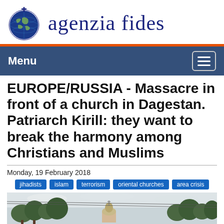[Figure (logo): Agenzia Fides logo with globe icon and stylized text 'agenzia fides' in dark blue]
EUROPE/RUSSIA - Massacre in front of a church in Dagestan. Patriarch Kirill: they want to break the harmony among Christians and Muslims
Monday, 19 February 2018
jihadists
islam
terrorism
oriental churches
area crisis
[Figure (photo): Partial photo showing trees and the top of a church with dome, overcast sky]